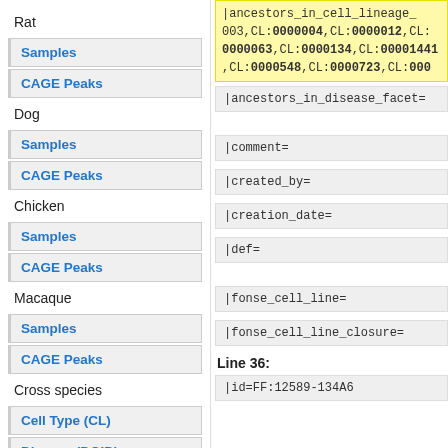Rat
Samples
CAGE Peaks
Dog
Samples
CAGE Peaks
Chicken
Samples
CAGE Peaks
Macaque
Samples
CAGE Peaks
Cross species
Cell Type (CL)
Disease (DOID)
|ancestors_in_cell_lineage_facet=003,CL:0000004,CL:0000012,CL:0000063,CL:0000134,CL:00001441,CL:0000548,CL:0000723,CL:000
|ancestors_in_disease_facet=
|comment=
|created_by=
|creation_date=
|def=
|fonse_cell_line=
|fonse_cell_line_closure=
Line 36:
|id=FF:12589-134A6